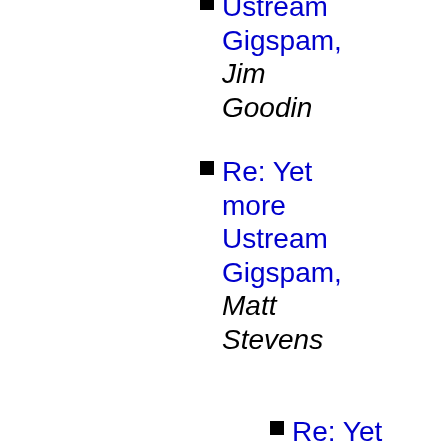Ustream Gigspam, Jim Goodin
Re: Yet more Ustream Gigspam, Matt Stevens
Re: Yet more Ustream Gigspam, Jim Goodin
Re: Yet more Ustream Gigspam, Steve Mc
Re: GigSpam: UStream, Jim Goodin